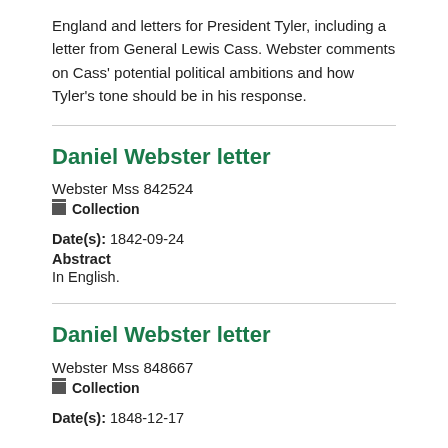England and letters for President Tyler, including a letter from General Lewis Cass. Webster comments on Cass' potential political ambitions and how Tyler's tone should be in his response.
Daniel Webster letter
Webster Mss 842524
Collection
Date(s): 1842-09-24
Abstract
In English.
Daniel Webster letter
Webster Mss 848667
Collection
Date(s): 1848-12-17